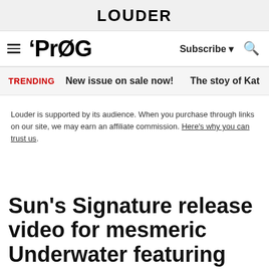LOUDER
PROG   Subscribe ▾  🔍
TRENDING   New issue on sale now!   The stoy of Kat
Louder is supported by its audience. When you purchase through links on our site, we may earn an affiliate commission. Here's why you can trust us.
Sun's Signature release video for mesmeric Underwater featuring